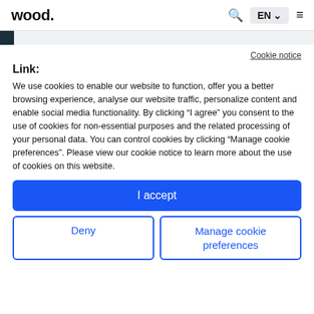wood. [search] EN [menu]
Cookie notice
Link:
We use cookies to enable our website to function, offer you a better browsing experience, analyse our website traffic, personalize content and enable social media functionality. By clicking “I agree” you consent to the use of cookies for non-essential purposes and the related processing of your personal data. You can control cookies by clicking "Manage cookie preferences". Please view our cookie notice to learn more about the use of cookies on this website.
I accept
Deny
Manage cookie preferences